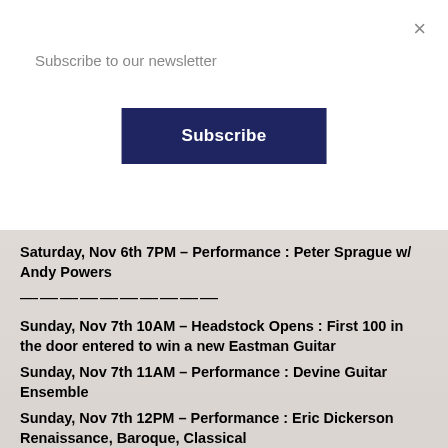Subscribe to our newsletter
Subscribe
×
Saturday, Nov 6th 7PM – Performance : Peter Sprague w/ Andy Powers
—————————
Sunday, Nov 7th 10AM – Headstock Opens : First 100 in the door entered to win a new Eastman Guitar
Sunday, Nov 7th 11AM – Performance : Devine Guitar Ensemble
Sunday, Nov 7th 12PM – Performance : Eric Dickerson Renaissance, Baroque, Classical